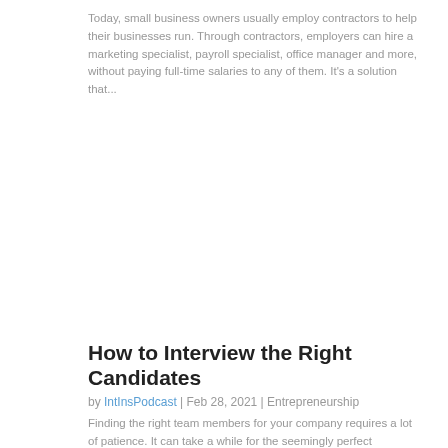Today, small business owners usually employ contractors to help their businesses run. Through contractors, employers can hire a marketing specialist, payroll specialist, office manager and more, without paying full-time salaries to any of them. It's a solution that...
How to Interview the Right Candidates
by IntInsPodcast | Feb 28, 2021 | Entrepreneurship
Finding the right team members for your company requires a lot of patience. It can take a while for the seemingly perfect candidate to come